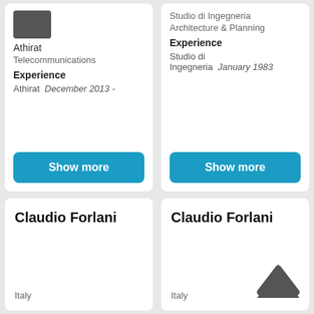[Figure (photo): Profile image placeholder (gray box)]
Athirat
Telecommunications
Experience
Athirat   December 2013 -
Show more
Studio di Ingegneria
Architecture & Planning
Experience
Studio di Ingegneria   January 1983
Show more
Claudio Forlani
Italy
Claudio Forlani
Italy
[Figure (illustration): Chevron up arrow icon (dark gray)]